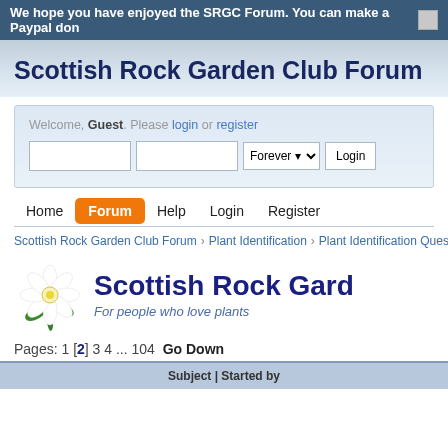We hope you have enjoyed the SRGC Forum. You can make a Paypal don
Scottish Rock Garden Club Forum
Welcome, Guest. Please login or register
Login form with fields: username, password, Forever dropdown, Login button
Home  Forum  Help  Login  Register
Scottish Rock Garden Club Forum  Plant Identification  Plant Identification Questions
[Figure (logo): Scottish Rock Garden Club logo with white flower and green leaves, text: Scottish Rock Gard, For people who love plants]
Pages: 1 [2] 3 4 ... 104  Go Down
Subject | Started by